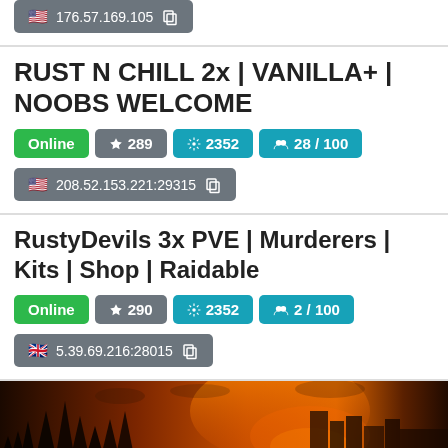176.57.169.105
RUST N CHILL 2x | VANILLA+ | NOOBS WELCOME
Online | ★ 289 | ⚙ 2352 | 👥 28 / 100
208.52.153.221:29315
RustyDevils 3x PVE | Murderers | Kits | Shop | Raidable
Online | ★ 290 | ⚙ 2352 | 👥 2 / 100
5.39.69.216:28015
[Figure (screenshot): Game server banner image showing a fiery forest/ruins scene]
Online | ★ 291 | ⚙ 2352 | 👥 1 / 50